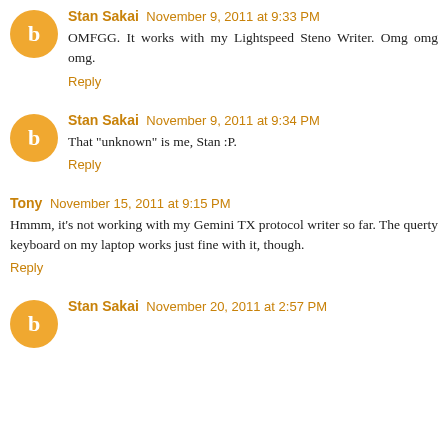Stan Sakai November 9, 2011 at 9:33 PM
OMFGG. It works with my Lightspeed Steno Writer. Omg omg omg.
Reply
Stan Sakai November 9, 2011 at 9:34 PM
That "unknown" is me, Stan :P.
Reply
Tony November 15, 2011 at 9:15 PM
Hmmm, it's not working with my Gemini TX protocol writer so far. The querty keyboard on my laptop works just fine with it, though.
Reply
Stan Sakai November 20, 2011 at 2:57 PM